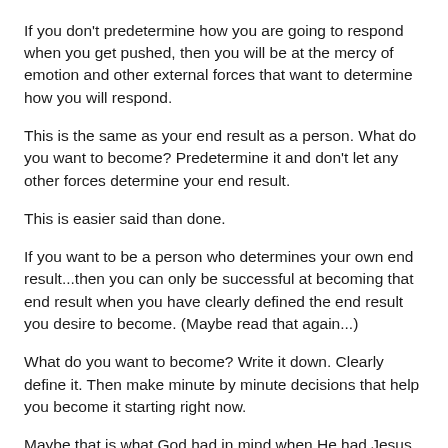If you don't predetermine how you are going to respond when you get pushed, then you will be at the mercy of emotion and other external forces that want to determine how you will respond.
This is the same as your end result as a person.  What do you want to become?  Predetermine it and don't let any other forces determine your end result.
This is easier said than done.
If you want to be a person who determines your own end result...then you can only be successful at becoming that end result when you have clearly defined the end result you desire to become. (Maybe read that again...)
What do you want to become?  Write it down.  Clearly define it. Then make minute by minute decisions that help you become it starting right now.
Maybe that is what God had in mind when He had Jesus say, “Love the Lord your God with all your heart and with all